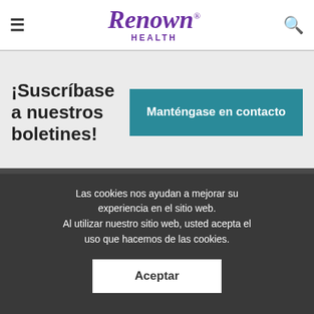Renown HEALTH
¡Suscríbase a nuestros boletines!
Manténgase en contacto
[Figure (logo): Renown Health logo in dark purple/maroon on grey background]
Consultas generales
775-982-4100
Preguntas de facturación
775-982-4130
Las cookies nos ayudan a mejorar su experiencia en el sitio web. Al utilizar nuestro sitio web, usted acepta el uso que hacemos de las cookies.
Aceptar